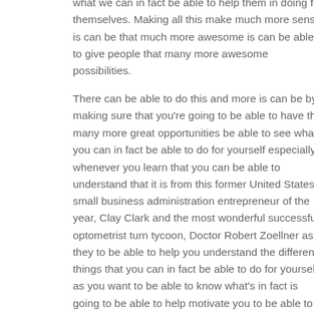what we can in fact be able to help them in doing for themselves. Making all this make much more sense is can be that much more awesome is can be able to give people that many more awesome possibilities.
There can be able to do this and more is can be by making sure that you're going to be able to have that many more great opportunities be able to see what you can in fact be able to do for yourself especially whenever you learn that you can be able to understand that it is from this former United States small business administration entrepreneur of the year, Clay Clark and the most wonderful successful optometrist turn tycoon, Doctor Robert Zoellner as they to be able to help you understand the different things that you can in fact be able to do for yourself as you want to be able to know what's in fact is going to be able to help motivate you to be able to get to the places that you want to in life.
Can be able to have all these many great possibilities that